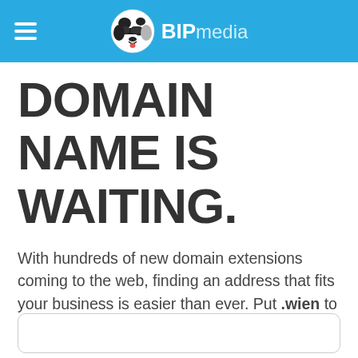BIPmedia
DOMAIN NAME IS WAITING.
With hundreds of new domain extensions coming to the web, finding an address that fits your business is easier than ever. Put .wien to work for you.